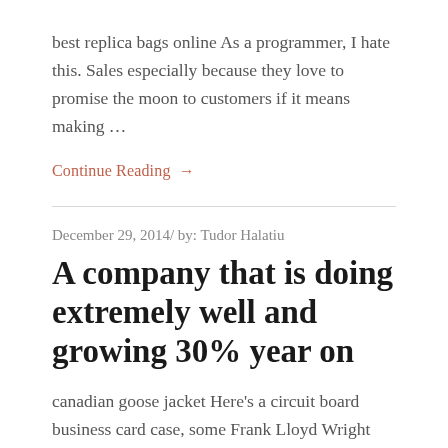best replica bags online As a programmer, I hate this. Sales especially because they love to promise the moon to customers if it means making ...
Continue Reading →
December 29, 2014/ by: Tudor Halatiu
A company that is doing extremely well and growing 30% year on
canadian goose jacket Here's a circuit board business card case, some Frank Lloyd Wright cases and a more traditional leather business card case. 30. Classic